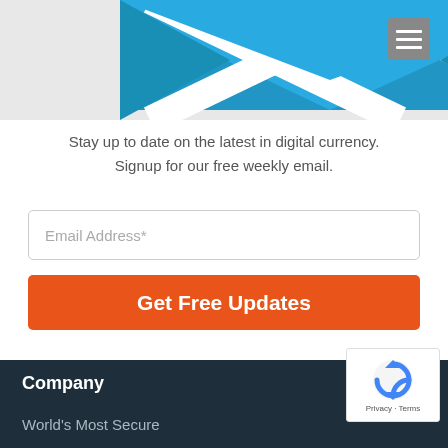[Figure (illustration): Blue envelope icon partially visible at top of page on grey background]
Stay up to date on the latest in digital currency. Signup for our free weekly email.
Email Address*
Get Free Updates
Company
World's Most Secure